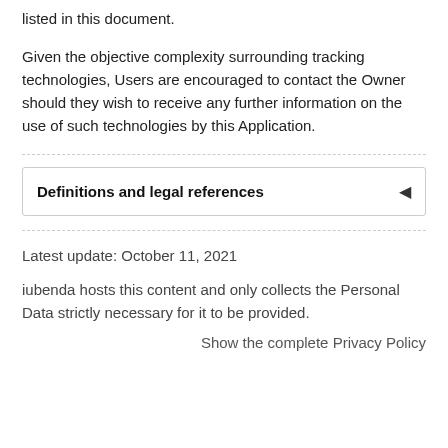listed in this document.
Given the objective complexity surrounding tracking technologies, Users are encouraged to contact the Owner should they wish to receive any further information on the use of such technologies by this Application.
Definitions and legal references
Latest update: October 11, 2021
iubenda hosts this content and only collects the Personal Data strictly necessary for it to be provided.
Show the complete Privacy Policy